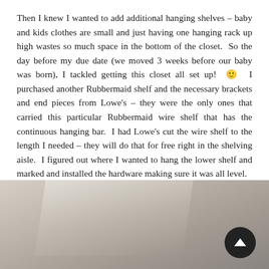Then I knew I wanted to add additional hanging shelves – baby and kids clothes are small and just having one hanging rack up high wastes so much space in the bottom of the closet.  So the day before my due date (we moved 3 weeks before our baby was born), I tackled getting this closet all set up!  🙂  I purchased another Rubbermaid shelf and the necessary brackets and end pieces from Lowe's – they were the only ones that carried this particular Rubbermaid wire shelf that has the continuous hanging bar.  I had Lowe's cut the wire shelf to the length I needed – they will do that for free right in the shelving aisle.  I figured out where I wanted to hang the lower shelf and marked and installed the hardware making sure it was all level.
[Figure (photo): Partial photo of a closet interior, showing shelving hardware against white walls. A dark circular scroll-to-top button overlays the bottom right corner.]